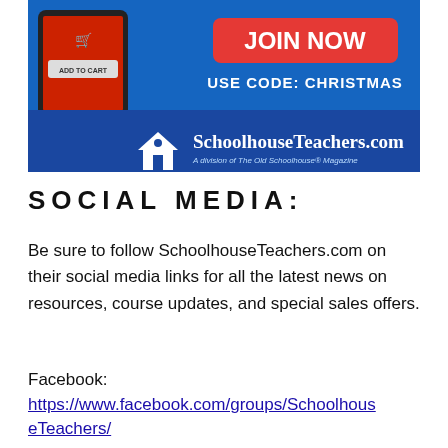[Figure (illustration): SchoolhouseTeachers.com advertisement banner with blue background, hands holding tablet with 'ADD TO CART' button, red 'JOIN NOW' button, text 'USE CODE: CHRISTMAS', and SchoolhouseTeachers.com logo with house icon. Subtitle: A division of The Old Schoolhouse Magazine.]
SOCIAL MEDIA:
Be sure to follow SchoolhouseTeachers.com on their social media links for all the latest news on resources, course updates, and special sales offers.
Facebook:
https://www.facebook.com/groups/SchoolhouseTeachers/